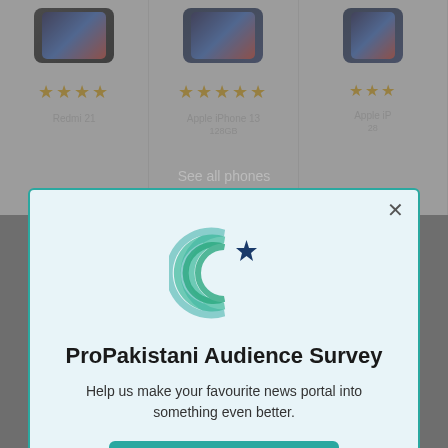[Figure (screenshot): Background of a mobile phone comparison website showing product cards with phone images and star ratings. Three columns visible with phones and gold star ratings.]
[Figure (logo): ProPakistani logo — crescent and star icon with teal/green curved lines forming a crescent shape with a dark blue star]
ProPakistani Audience Survey
Help us make your favourite news portal into something even better.
Take me there!